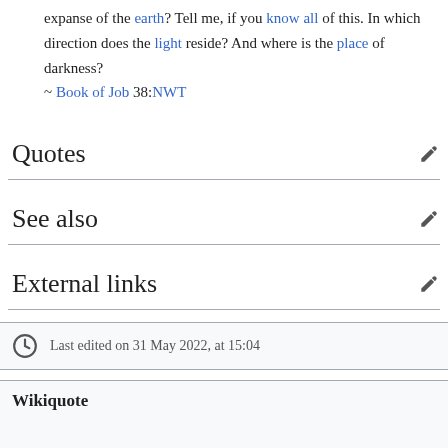expanse of the earth? Tell me, if you know all of this. In which direction does the light reside? And where is the place of darkness?
~ Book of Job 38:NWT
Quotes
See also
External links
Last edited on 31 May 2022, at 15:04
Wikiquote